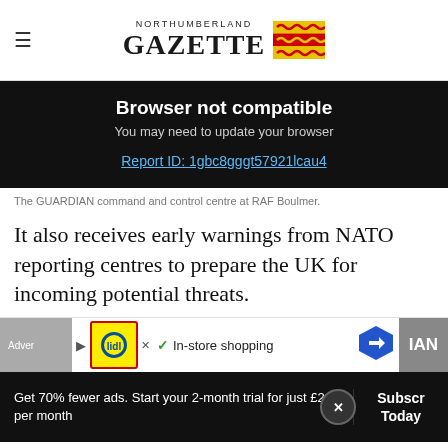NORTHUMBERLAND GAZETTE
Browser not compatible
You may need to update your browser
Report ID: 1gbc8gggt57921lcau4
The GUARDIAN command and control centre at RAF Boulmer.
It also receives early warnings from NATO reporting centres to prepare the UK for incoming potential threats.
[Figure (screenshot): Advertisement banner showing Lidl logo, checkmark, 'In-store shopping' text, and navigation arrow icon]
Get 70% fewer ads. Start your 2-month trial for just £2 per month
Subscribe Today